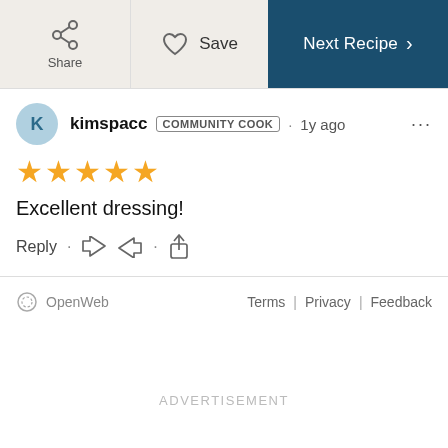Share | Save | Next Recipe
kimspacc COMMUNITY COOK · 1y ago
★★★★★
Excellent dressing!
Reply · 👍 👎 · ⬆
OpenWeb  Terms | Privacy | Feedback
ADVERTISEMENT